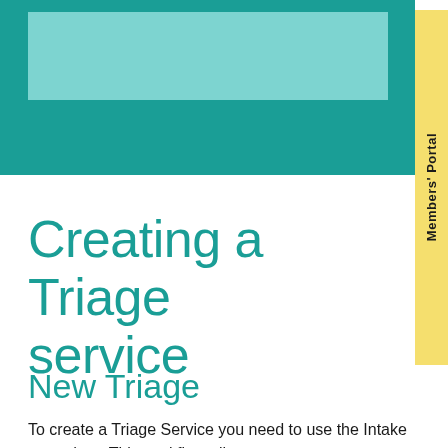Creating a Triage service
New Triage
To create a Triage Service you need to use the Intake procedure. This workflow allows you so